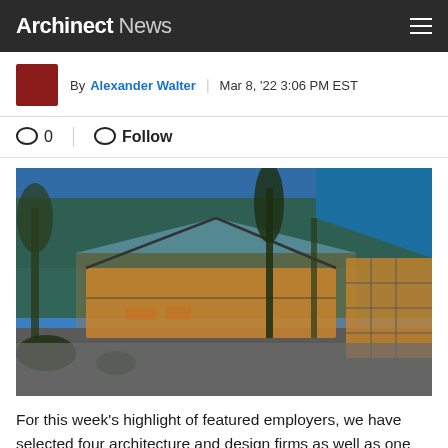Archinect News
By Alexander Walter | Mar 8, '22 3:06 PM EST
0   Follow
[Figure (photo): Exterior photograph of a modern architectural building with a blue metal pitched roof, timber-framed glass walls glowing amber from interior lighting, set among trees at dusk.]
For this week's highlight of featured employers, we have selected four architecture and design firms as well as one